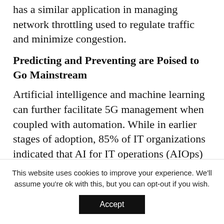has a similar application in managing network throttling used to regulate traffic and minimize congestion.
Predicting and Preventing are Poised to Go Mainstream
Artificial intelligence and machine learning can further facilitate 5G management when coupled with automation. While in earlier stages of adoption, 85% of IT organizations indicated that AI for IT operations (AIOps) is either a major initiative or well underway, according to new data from EMA Research. AIOps solutions ingest, aggregate, and analyze large volumes
This website uses cookies to improve your experience. We'll assume you're ok with this, but you can opt-out if you wish.